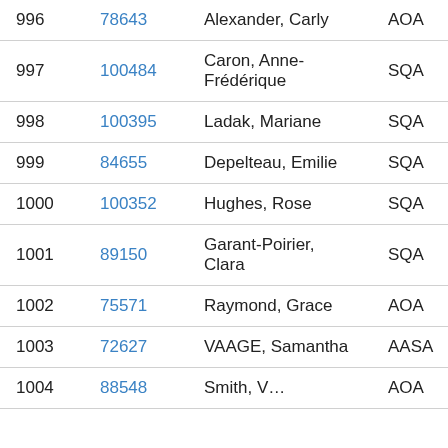| # | ID | Name | Org | Code |
| --- | --- | --- | --- | --- |
| 996 | 78643 | Alexander, Carly | AOA | CAL… |
| 997 | 100484 | Caron, Anne-Frédérique | SQA | SUT… |
| 998 | 100395 | Ladak, Mariane | SQA | MCA… |
| 999 | 84655 | Depelteau, Emilie | SQA | ORF… |
| 1000 | 100352 | Hughes, Rose | SQA | MOR… |
| 1001 | 89150 | Garant-Poirier, Clara | SQA | PIN… |
| 1002 | 75571 | Raymond, Grace | AOA | CRA… |
| 1003 | 72627 | VAAGE, Samantha | AASA | RHS… |
| 1004 | 88548 | Smith, V… | AOA | … |